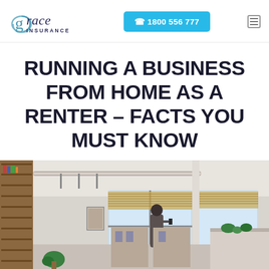Grace Insurance | ☎ 1800 556 777
RUNNING A BUSINESS FROM HOME AS A RENTER – FACTS YOU MUST KNOW
[Figure (photo): Interior photo of a modern loft/home office space with large windows, exposed pipes, wooden shelving, plants, and a person standing by the window looking at a phone or book.]